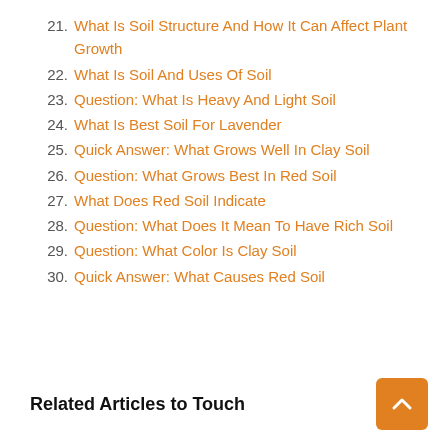21. What Is Soil Structure And How It Can Affect Plant Growth
22. What Is Soil And Uses Of Soil
23. Question: What Is Heavy And Light Soil
24. What Is Best Soil For Lavender
25. Quick Answer: What Grows Well In Clay Soil
26. Question: What Grows Best In Red Soil
27. What Does Red Soil Indicate
28. Question: What Does It Mean To Have Rich Soil
29. Question: What Color Is Clay Soil
30. Quick Answer: What Causes Red Soil
Related Articles to Touch